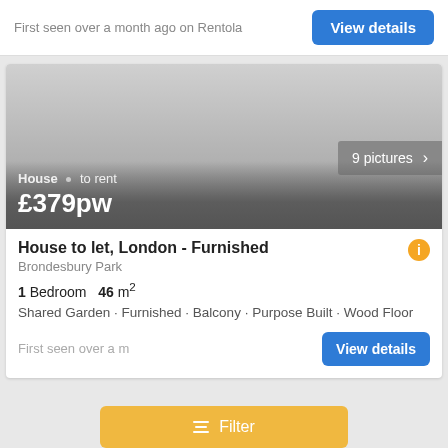First seen over a month ago on Rentola
View details
[Figure (photo): Property listing image area with gray gradient, showing '9 pictures' badge and overlay with 'House · to rent £379pw']
House to let, London - Furnished
Brondesbury Park
1 Bedroom   46 m²
Shared Garden · Furnished · Balcony · Purpose Built · Wood Floor
First seen over a month ago
View details
Filter